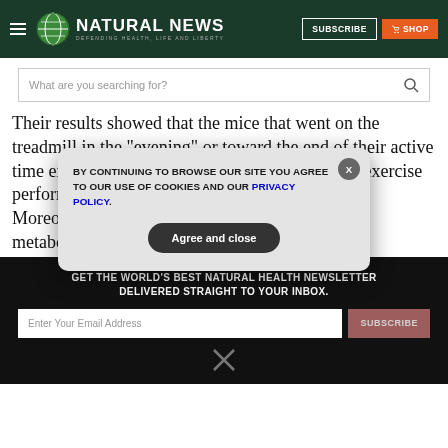Natural News - Defending Health, Life and Liberty
What are you searching for?
Their results showed that the mice that went on the treadmill in the "evening" or toward the end of their active time exhibited about 50 percent improvement in exercise performance compared to the "morning" routine. Moreover, the researchers saw higher levels of a metabolite called
GET THE WORLD'S BEST NATURAL HEALTH NEWSLETTER DELIVERED STRAIGHT TO YOUR INBOX.
BY CONTINUING TO BROWSE OUR SITE YOU AGREE TO OUR USE OF COOKIES AND OUR PRIVACY POLICY.
Agree and close